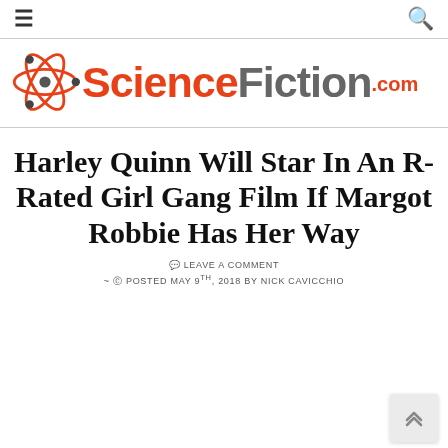≡  (hamburger menu)  and search icon
[Figure (logo): ScienceFiction.com logo with red atom graphic on the left and the text ScienceFiction.com where Science is red, Fiction is gray, and .com is red superscript]
Harley Quinn Will Star In An R-Rated Girl Gang Film If Margot Robbie Has Her Way
LEAVE A COMMENT
~ POSTED MAY 9TH, 2018 BY NICK CAVICCHIO